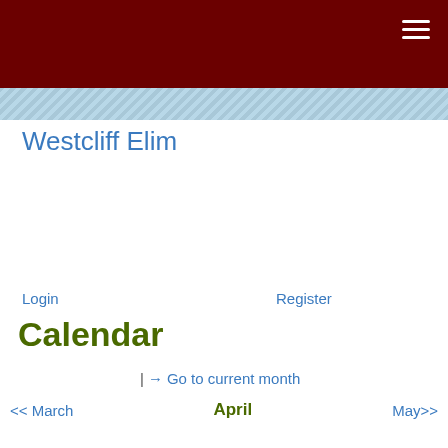Westcliff Elim
Login
Register
Calendar
| → Go to current month
<< March   April   May>>